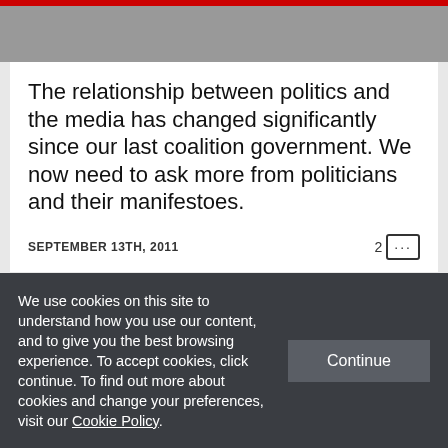[Figure (photo): Top portion of a photo, partially visible at top of page]
The relationship between politics and the media has changed significantly since our last coalition government. We now need to ask more from politicians and their manifestoes.
SEPTEMBER 13TH, 2011   2 [...]
[Figure (photo): Partial photo of buildings with 'Media and Communications' red label overlay]
We use cookies on this site to understand how you use our content, and to give you the best browsing experience. To accept cookies, click continue. To find out more about cookies and change your preferences, visit our Cookie Policy.